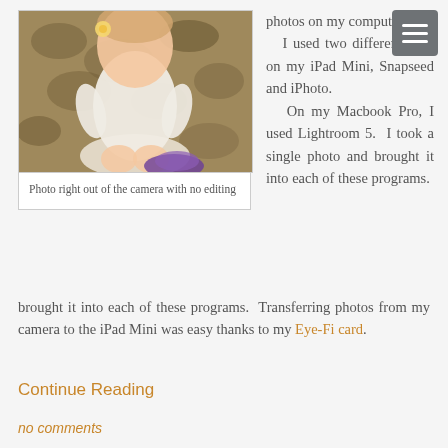[Figure (photo): Baby/toddler in white outfit sitting on a patterned carpet floor, photo taken with no editing]
Photo right out of the camera with no editing
photos on my computer. I used two different apps on my iPad Mini, Snapseed and iPhoto. On my Macbook Pro, I used Lightroom 5. I took a single photo and brought it into each of these programs. Transferring photos from my camera to the iPad Mini was easy thanks to my Eye-Fi card.
Continue Reading
no comments